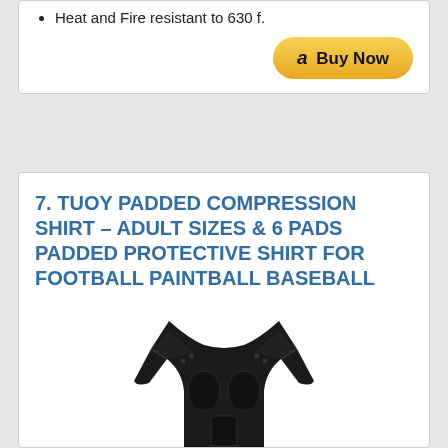Heat and Fire resistant to 630 f.
[Figure (other): Amazon Buy Now button with orange/yellow rounded rectangle and amazon logo]
7. TUOY PADDED COMPRESSION SHIRT – ADULT SIZES & 6 PADS PADDED PROTECTIVE SHIRT FOR FOOTBALL PAINTBALL BASEBALL
[Figure (photo): Black padded compression shirt with protective padding on shoulders, chest, and sides — shown without a model against white background]
Moisture wicking, cool and breathable. High elasticity offers better mobility